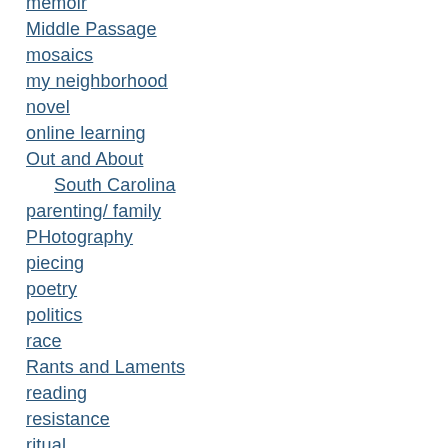memoir
Middle Passage
mosaics
my neighborhood
novel
online learning
Out and About
South Carolina
parenting/ family
PHotography
piecing
poetry
politics
race
Rants and Laments
reading
resistance
ritual
SALE items